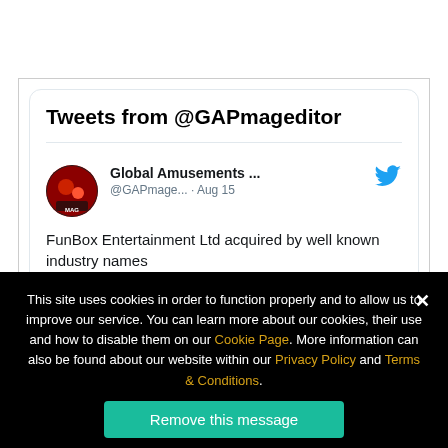Tweets from @GAPmageditor
[Figure (screenshot): Twitter widget showing tweet from Global Amusements @GAPmage... dated Aug 15 with text: FunBox Entertainment Ltd acquired by well known industry names]
This site uses cookies in order to function properly and to allow us to improve our service. You can learn more about our cookies, their use and how to disable them on our Cookie Page. More information can also be found about our website within our Privacy Policy and Terms & Conditions.
Remove this message